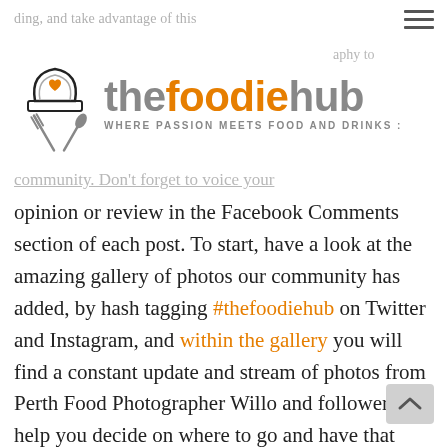[Figure (logo): The Foodie Hub logo with chef hat and crossed cutlery icon, wordmark 'thefoodiehub' in grey and orange, tagline 'WHERE PASSION MEETS FOOD AND DRINKS :']
community. Don't forget to voice your opinion or review in the Facebook Comments section of each post. To start, have a look at the amazing gallery of photos our community has added, by hash tagging #thefoodiehub on Twitter and Instagram, and within the gallery you will find a constant update and stream of photos from Perth Food Photographer Willo and followers to help you decide on where to go and have that next breakfast, lunch, dinner, or cocktail.